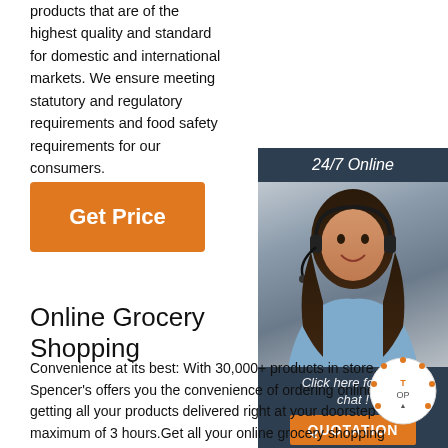products that are of the highest quality and standard for domestic and international markets. We ensure meeting statutory and regulatory requirements and food safety requirements for our consumers.
[Figure (other): Orange 'Get Price' button]
[Figure (photo): 24/7 Online support ad panel with a woman wearing a headset, with 'Click here for free chat!' text and a QUOTATION button]
Online Grocery Shopping
Convenience at its best: With 30,000+ products in store, Spencer's offers you the convenience of ordering online and getting all your products delivered right at your doorstep in a maximum of 3 hours.Get all your online grocery shopping done in a matter of minutes. You Name It, We Have It: Spencer's meets all your grocery and home-based needs across categories like Fruits & Vegetables ...
[Figure (logo): TOP badge logo in bottom right corner]